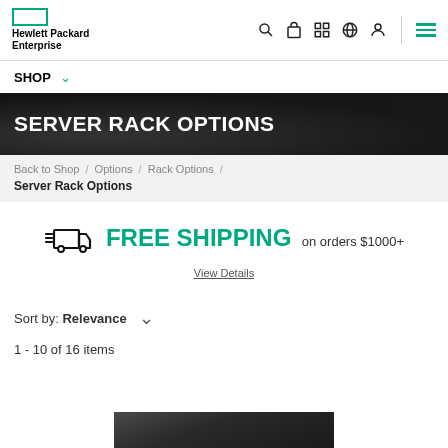Hewlett Packard Enterprise
SHOP
SERVER RACK OPTIONS
Back to Shop / Options / Rack Options / Server Rack Options
[Figure (infographic): Truck/delivery icon with lines indicating free shipping promotion]
FREE SHIPPING on orders $1000+
View Details
Sort by: Relevance
1 - 10 of 16 items
[Figure (photo): Server rack hardware product image, partially visible at bottom of page]